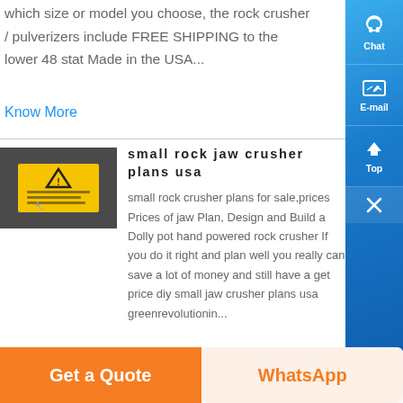which size or model you choose, the rock crusher / pulverizers include FREE SHIPPING to the lower 48 stat Made in the USA...
Know More
[Figure (photo): Thumbnail image of a small rock jaw crusher with a yellow warning label]
small rock jaw crusher plans usa
small rock crusher plans for sale,prices Prices of jaw Plan, Design and Build a Dolly pot hand powered rock crusher If you do it right and plan well you really can save a lot of money and still have a get price diy small jaw crusher plans usa greenrevolutionin...